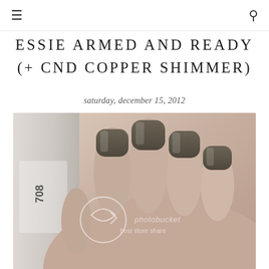≡  🔍
ESSIE ARMED AND READY
(+ CND COPPER SHIMMER)
saturday, december 15, 2012
[Figure (photo): Close-up photograph of a hand with nails painted in a dark olive/taupe color (Essie Armed and Ready), holding a nail polish bottle. A photobucket watermark is visible over the image.]